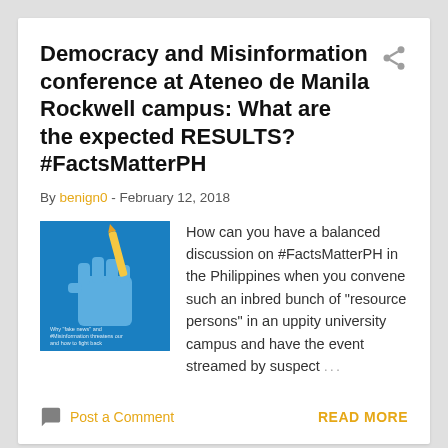Democracy and Misinformation conference at Ateneo de Manila Rockwell campus: What are the expected RESULTS? #FactsMatterPH
By benign0 - February 12, 2018
[Figure (illustration): Blue fist holding a pencil/pen against a blue background, with small text overlay relating to fake news and misinformation]
How can you have a balanced discussion on #FactsMatterPH in the Philippines when you convene such an inbred bunch of "resource persons" in an uppity university campus and have the event streamed by suspect ...
Post a Comment
READ MORE